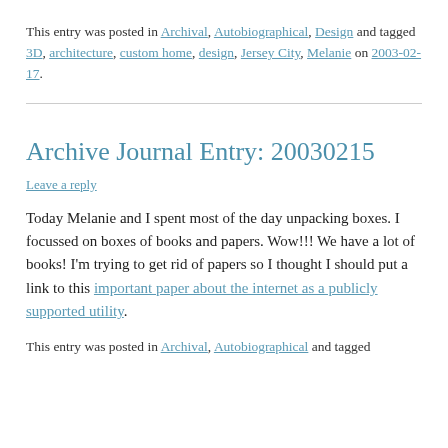This entry was posted in Archival, Autobiographical, Design and tagged 3D, architecture, custom home, design, Jersey City, Melanie on 2003-02-17.
Archive Journal Entry: 20030215
Leave a reply
Today Melanie and I spent most of the day unpacking boxes. I focussed on boxes of books and papers. Wow!!! We have a lot of books! I'm trying to get rid of papers so I thought I should put a link to this important paper about the internet as a publicly supported utility.
This entry was posted in Archival, Autobiographical and tagged